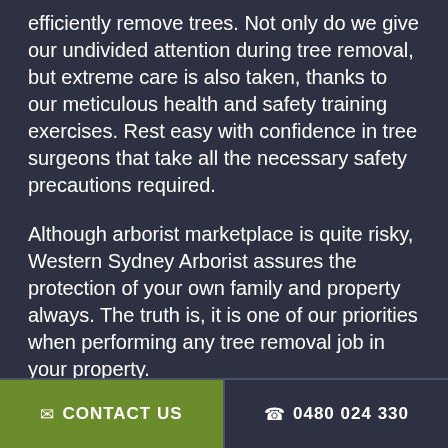efficiently remove trees. Not only do we give our undivided attention during tree removal, but extreme care is also taken, thanks to our meticulous health and safety training exercises. Rest easy with confidence in tree surgeons that take all the necessary safety precautions required.
Although arborist marketplace is quite risky, Western Sydney Arborist assures the protection of your own family and property always. The truth is, it is one of our priorities when performing any tree removal job in your property.
To put it simply, if you've got any safety worries, our friendly and professional staff will give you peace of mind and also gladly give you a
✉ CONTACT US    ☎ 0480 024 330